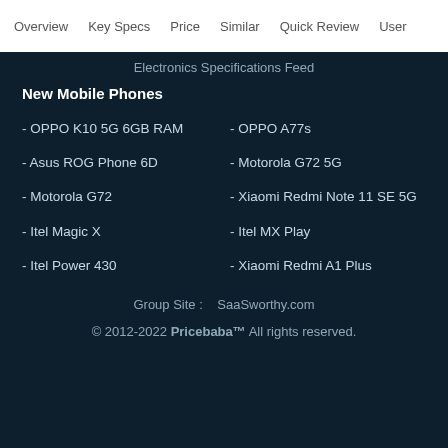Overview   Key Specs   Price   Similar   Quick Review   User
Electronics Specifications Feed
New Mobile Phones
- OPPO K10 5G 6GB RAM
- OPPO A77s
- Asus ROG Phone 6D
- Motorola G72 5G
- Motorola G72
- Xiaomi Redmi Note 11 SE 5G
- Itel Magic X
- Itel MX Play
- Itel Power 430
- Xiaomi Redmi A1 Plus
Group Site :    SaaSworthy.com
© 2012-2022 Pricebaba™ All rights reserved.